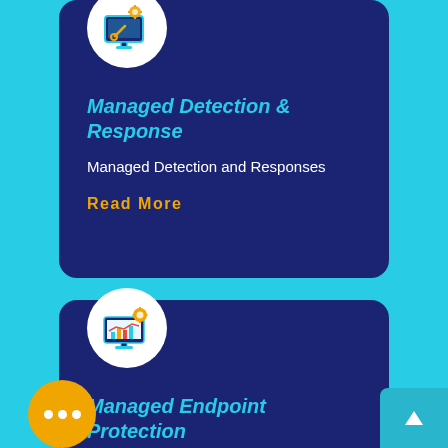[Figure (illustration): Icon of a computer monitor with wrench/tool and gear on a white circle background, top of card 1]
Managed Detection & Response
Managed Detection and Responses
Read More
[Figure (illustration): Icon of a monitor/screen showing charts and graphs with a gear icon, on a white circle background, top of card 2]
Managed Endpoint Protection
Managed Endpoint Protection for Workstations & Servers